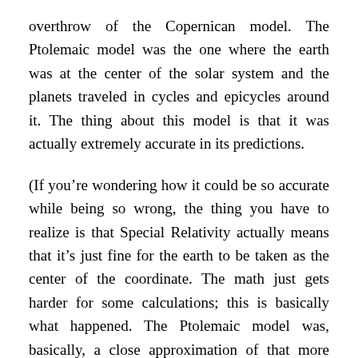overthrow of the Copernican model. The Ptolemaic model was the one where the earth was at the center of the solar system and the planets traveled in cycles and epicycles around it. The thing about this model is that it was actually extremely accurate in its predictions.
(If you're wondering how it could be so accurate while being so wrong, the thing you have to realize is that Special Relativity actually means that it's just fine for the earth to be taken as the center of the coordinate. The math just gets harder for some calculations; this is basically what happened. The Ptolemaic model was, basically, a close approximation of that more complicated